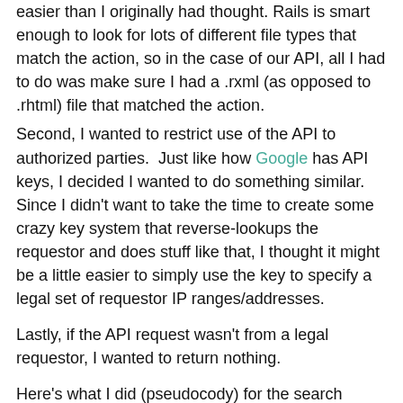easier than I originally had thought.  Rails is smart enough to look for lots of different file types that match the action, so in the case of our API, all I had to do was make sure I had a .rxml (as opposed to .rhtml) file that matched the action.
Second, I wanted to restrict use of the API to authorized parties.  Just like how Google has API keys, I decided I wanted to do something similar.  Since I didn't want to take the time to create some crazy key system that reverse-lookups the requestor and does stuff like that, I thought it might be a little easier to simply use the key to specify a legal set of requestor IP ranges/addresses.
Lastly, if the API request wasn't from a legal requestor, I wanted to return nothing.
Here's what I did (pseudocody) for the search controller
[Figure (screenshot): Code block showing Ruby on Rails class definition: class ApiController &lt; ApplicationController with comment # api ip address ranges allowed, API_KEYS = {"5b6ba960531c458021e8be98f3842c18...}, and def search]